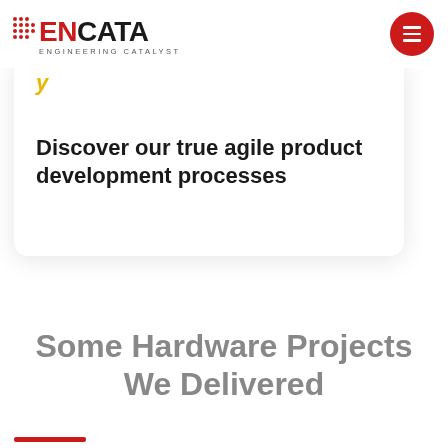[Figure (logo): ENCATA Engineering Catalyst logo with red dot-grid icon and red/black wordmark, plus a red circular hamburger menu button]
y
Discover our true agile product development processes
Some Hardware Projects We Delivered